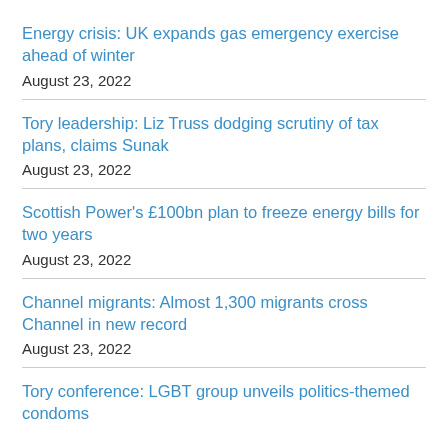Energy crisis: UK expands gas emergency exercise ahead of winter
August 23, 2022
Tory leadership: Liz Truss dodging scrutiny of tax plans, claims Sunak
August 23, 2022
Scottish Power's £100bn plan to freeze energy bills for two years
August 23, 2022
Channel migrants: Almost 1,300 migrants cross Channel in new record
August 23, 2022
Tory conference: LGBT group unveils politics-themed condoms